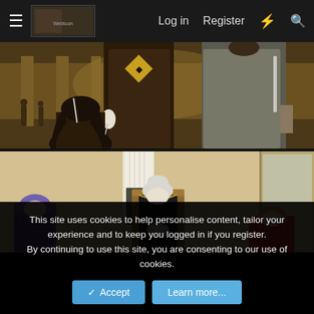Log in  Register
[Figure (illustration): Manga/webtoon artwork showing two panels. Top panel: two tall figures seen from behind standing before a crowd in a large indoor space with warm golden lighting. A figure with long dark hair is visible in the lower left. Bottom panel: a silver-haired man seated in an ornate chair looking at his hands, flanked by a purple-haired person on the left and an orange-haired person in red on the right.]
This site uses cookies to help personalise content, tailor your experience and to keep you logged in if you register.
By continuing to use this site, you are consenting to our use of cookies.
Accept  Learn more...